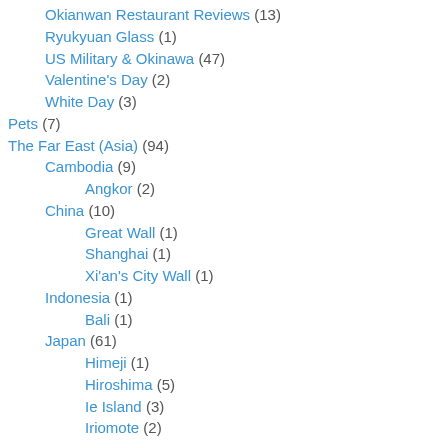Okianwan Restaurant Reviews (13)
Ryukyuan Glass (1)
US Military & Okinawa (47)
Valentine's Day (2)
White Day (3)
Pets (7)
The Far East (Asia) (94)
Cambodia (9)
Angkor (2)
China (10)
Great Wall (1)
Shanghai (1)
Xi'an's City Wall (1)
Indonesia (1)
Bali (1)
Japan (61)
Himeji (1)
Hiroshima (5)
Ie Island (3)
Iriomote (2)